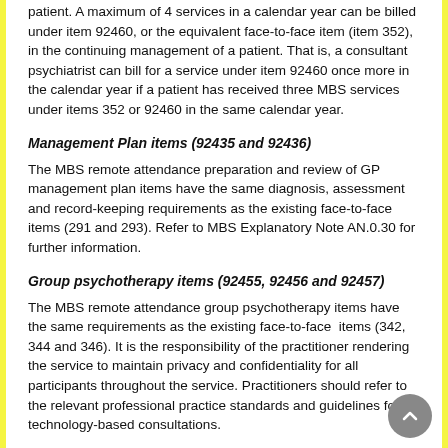patient. A maximum of 4 services in a calendar year can be billed under item 92460, or the equivalent face-to-face item (item 352), in the continuing management of a patient. That is, a consultant psychiatrist can bill for a service under item 92460 once more in the calendar year if a patient has received three MBS services under items 352 or 92460 in the same calendar year.
Management Plan items (92435 and 92436)
The MBS remote attendance preparation and review of GP management plan items have the same diagnosis, assessment and record-keeping requirements as the existing face-to-face items (291 and 293). Refer to MBS Explanatory Note AN.0.30 for further information.
Group psychotherapy items (92455, 92456 and 92457)
The MBS remote attendance group psychotherapy items have the same requirements as the existing face-to-face  items (342, 344 and 346). It is the responsibility of the practitioner rendering the service to maintain privacy and confidentiality for all participants throughout the service. Practitioners should refer to the relevant professional practice standards and guidelines for technology-based consultations.